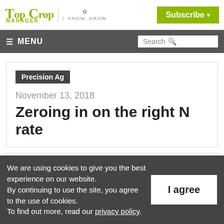Top Crop Manager | Know. Grow. | Subscribe
≡ MENU | Search
Precision Ag
November 13, 2018
Zeroing in on the right N rate
We are using cookies to give you the best experience on our website. By continuing to use the site, you agree to the use of cookies. To find out more, read our privacy policy.